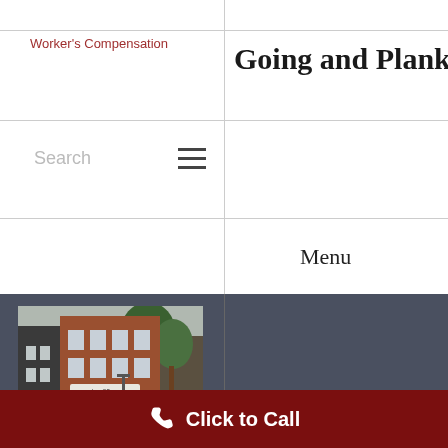Worker's Compensation
Going and Plank
Search
[Figure (other): Hamburger menu icon (three horizontal lines)]
Menu
[Figure (photo): Street-level exterior photo of law offices building with 'Law Offices Going & Plank' sign visible, brick building with trees on sidewalk]
Click to Call